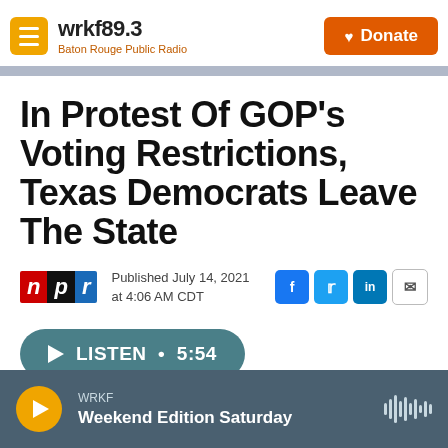wrkf89.3 Baton Rouge Public Radio | Donate
In Protest Of GOP's Voting Restrictions, Texas Democrats Leave The State
Published July 14, 2021 at 4:06 AM CDT
[Figure (other): Listen audio player button showing duration 5:54]
WRKF Weekend Edition Saturday